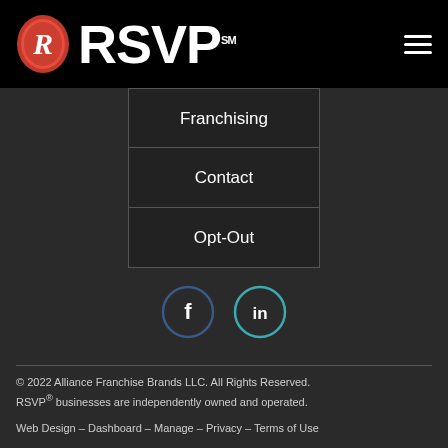[Figure (logo): RSVP logo: red wax seal with stylized R, white bold RSVP text with SM superscript, on black header]
Franchising
Contact
Opt-Out
[Figure (illustration): Facebook icon circle (dark blue outline) and LinkedIn icon circle (teal outline), social media links]
© 2022 Alliance Franchise Brands LLC. All Rights Reserved. RSVP® businesses are independently owned and operated.

Web Design – Dashboard – Manage – Privacy – Terms of Use